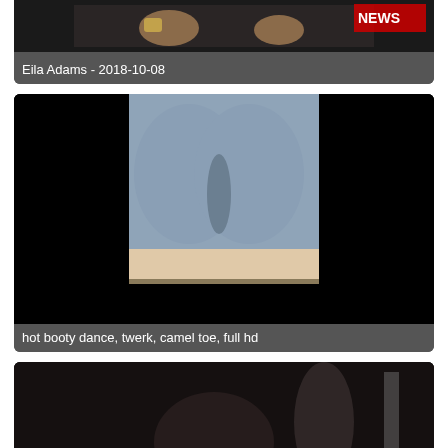[Figure (screenshot): Partial video thumbnail showing hands near a NEWS graphic, dark background]
Eila Adams - 2018-10-08
[Figure (screenshot): Video thumbnail showing person in grey shorts, black bars on sides]
hot booty dance, twerk, camel toe, full hd
[Figure (screenshot): Dark video thumbnail, partially visible blue/white object in foreground]